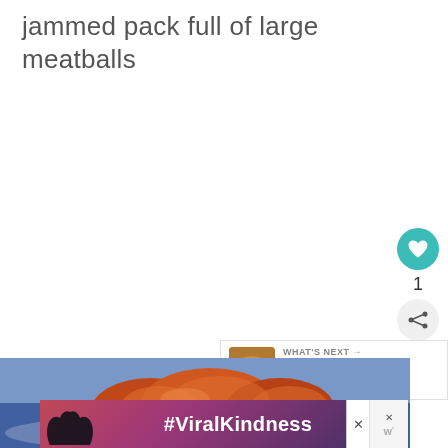jammed pack full of large meatballs
[Figure (screenshot): Heart/like button (teal circle with white heart icon), like count '1', and share button (light circle with share icon) on the right side of the page]
[Figure (screenshot): WHAT'S NEXT panel with thumbnail of food dish and text 'Monday Munchies:...']
[Figure (photo): Food photo showing what appears to be fried/breaded food items on a plate with a blue-tinted background]
[Figure (screenshot): Advertisement banner with #ViralKindness text, hands making a heart shape silhouette, and close buttons]